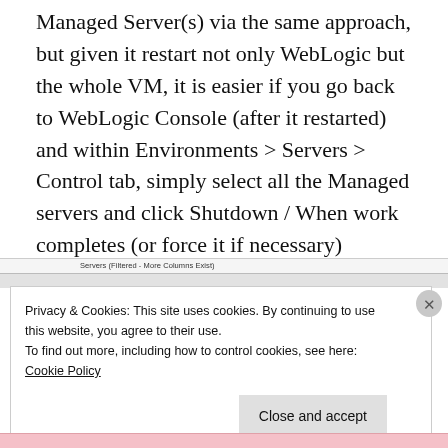Managed Server(s) via the same approach, but given it restart not only WebLogic but the whole VM, it is easier if you go back to WebLogic Console (after it restarted) and within Environments > Servers > Control tab, simply select all the Managed servers and click Shutdown / When work completes (or force it if necessary)
[Figure (screenshot): Partial screenshot showing 'Servers (Filtered - More Columns Exist)' label at top of a table interface]
Privacy & Cookies: This site uses cookies. By continuing to use this website, you agree to their use.
To find out more, including how to control cookies, see here:
Cookie Policy
Close and accept